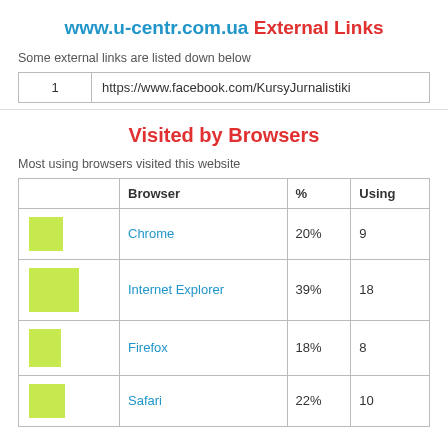www.u-centr.com.ua External Links
Some external links are listed down below
|  |  |
| --- | --- |
| 1 | https://www.facebook.com/KursyJurnalistiki |
Visited by Browsers
Most using browsers visited this website
|  | Browser | % | Using |
| --- | --- | --- | --- |
| [green bar] | Chrome | 20% | 9 |
| [green bar] | Internet Explorer | 39% | 18 |
| [green bar] | Firefox | 18% | 8 |
| [green bar] | Safari | 22% | 10 |